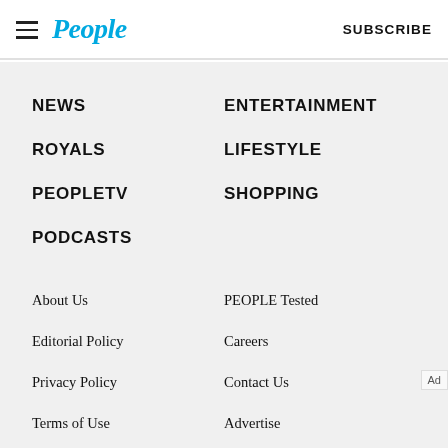People | SUBSCRIBE
NEWS
ENTERTAINMENT
ROYALS
LIFESTYLE
PEOPLETV
SHOPPING
PODCASTS
About Us
PEOPLE Tested
Editorial Policy
Careers
Privacy Policy
Contact Us
Terms of Use
Advertise
Ad